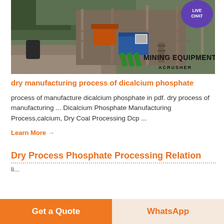[Figure (photo): Mining equipment / crusher machinery site photo with vegetation in background, branded with 'MINING EQUIPMENT ACRUSHER' overlay and green stripe logo. Live Chat badge in top right corner.]
dry manufacturing process of dicalcium phosphate
process of manufacture dicalcium phosphate in pdf. dry process of manufacturing ... Dicalcium Phosphate Manufacturing Process,calcium, Dry Coal Processing Dcp ...
Learn More →
Dry Process Phosphate Processing Relation
li...